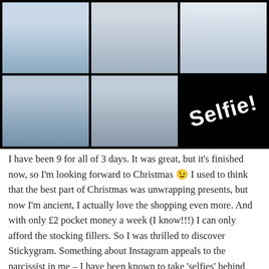[Figure (photo): A collage of 5 children's selfie photos arranged in a 3x2 grid with one black panel showing the word 'Selfie!' in white text. The children are making silly faces, sticking out tongues, and smiling. They appear to be wearing blue clothing and a black hat.]
I have been 9 for all of 3 days. It was great, but it's finished now, so I'm looking forward to Christmas 😉 I used to think that the best part of Christmas was unwrapping presents, but now I'm ancient, I actually love the shopping even more. And with only £2 pocket money a week (I know!!!) I can only afford the stocking fillers. So I was thrilled to discover Stickygram. Something about Instagram appeals to the narcissist in me – I have been known to take 'selfies' behind Mummy's back on numerous occasions: With